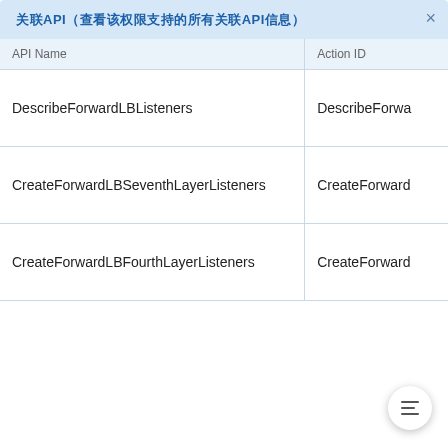关联API（查看该权限支持的所有关联API信息）
| API Name | Action ID |
| --- | --- |
| DescribeForwardLBListeners | DescribeForwa… |
| CreateForwardLBSeventhLayerListeners | CreateForward… |
| CreateForwardLBFourthLayerListeners | CreateForward… |